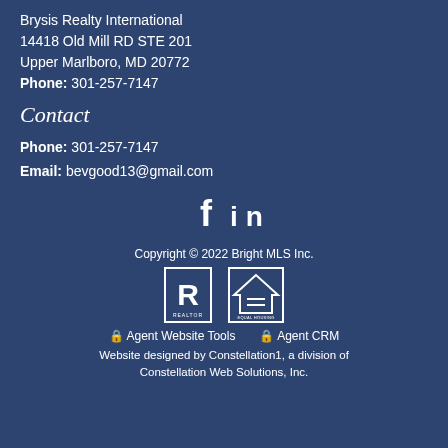Brysis Realty International
14418 Old Mill RD STE 201
Upper Marlboro, MD 20772
Phone: 301-257-7147
Contact
Phone: 301-257-7147
Email: bevgood13@gmail.com
[Figure (other): Social media icons: Facebook (f) and LinkedIn (in)]
Copyright © 2022 Bright MLS Inc.
[Figure (logo): REALTOR logo and Equal Housing Opportunity logo]
🔒 Agent Website Tools   🔒 Agent CRM
Website designed by Constellation1, a division of Constellation Web Solutions, Inc.